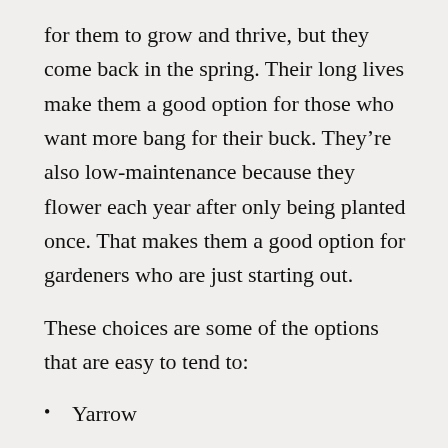for them to grow and thrive, but they come back in the spring. Their long lives make them a good option for those who want more bang for their buck. They're also low-maintenance because they flower each year after only being planted once. That makes them a good option for gardeners who are just starting out.
These choices are some of the options that are easy to tend to:
Yarrow
Nepeta–Cat Mint
Shasta daisy
Monarda